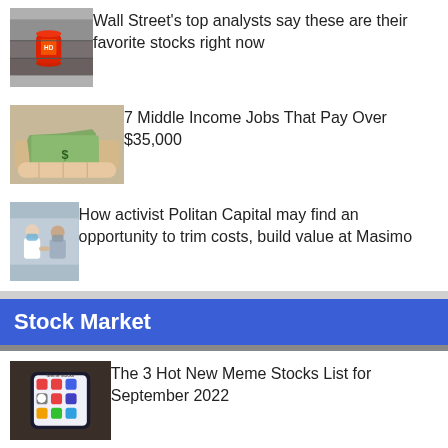Wall Street's top analysts say these are their favorite stocks right now
7 Middle Income Jobs That Pay Over $35,000
How activist Politan Capital may find an opportunity to trim costs, build value at Masimo
Stock Market
The 3 Hot New Meme Stocks List for September 2022